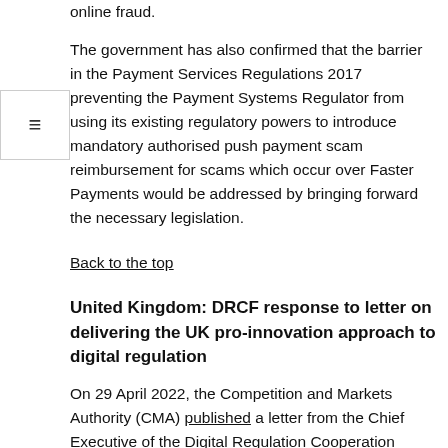online fraud.
The government has also confirmed that the barrier in the Payment Services Regulations 2017 preventing the Payment Systems Regulator from using its existing regulatory powers to introduce mandatory authorised push payment scam reimbursement for scams which occur over Faster Payments would be addressed by bringing forward the necessary legislation.
Back to the top
United Kingdom: DRCF response to letter on delivering the UK pro-innovation approach to digital regulation
On 29 April 2022, the Competition and Markets Authority (CMA) published a letter from the Chief Executive of the Digital Regulation Cooperation Forum